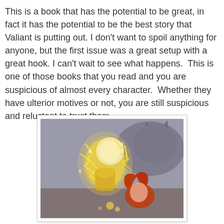This is a book that has the potential to be great, in fact it has the potential to be the best story that Valiant is putting out. I don't want to spoil anything for anyone, but the first issue was a great setup with a great hook. I can't wait to see what happens.  This is one of those books that you read and you are suspicious of almost every character.  Whether they have ulterior motives or not, you are still suspicious and reluctant to trust them.
[Figure (illustration): Comic book cover art showing a glowing yellow-armored superhero figure with lightning energy effects confronting a red-haired character, with a large shadowy demon silhouette in the background on a grey/purple background.]